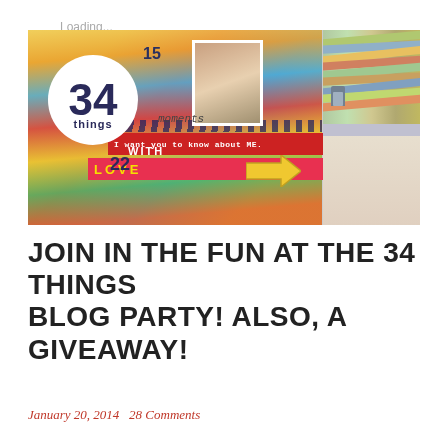Loading...
[Figure (photo): Scrapbook layout showing '34 things' circle badge overlay on colorful scrapbook pages with a child's school photo, handwritten text, numbered entries (15, 18, 22), red banner reading 'I want you to know about ME.', LOVE text strip, arrow embellishment, and a side panel of layered paper strips and stacked cards]
JOIN IN THE FUN AT THE 34 THINGS BLOG PARTY! ALSO, A GIVEAWAY!
January 20, 2014   28 Comments